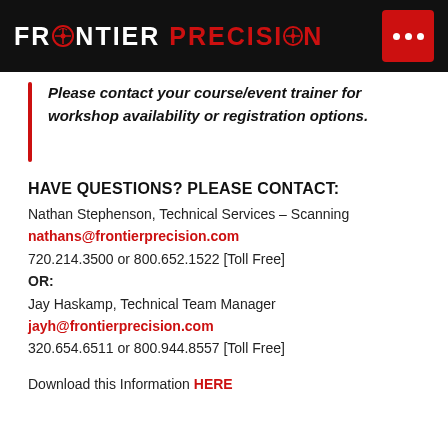FRONTIER PRECISION
Please contact your course/event trainer for workshop availability or registration options.
HAVE QUESTIONS? PLEASE CONTACT:
Nathan Stephenson, Technical Services – Scanning
nathans@frontierprecision.com
720.214.3500 or 800.652.1522 [Toll Free]
OR:
Jay Haskamp, Technical Team Manager
jayh@frontierprecision.com
320.654.6511 or 800.944.8557 [Toll Free]
Download this Information HERE